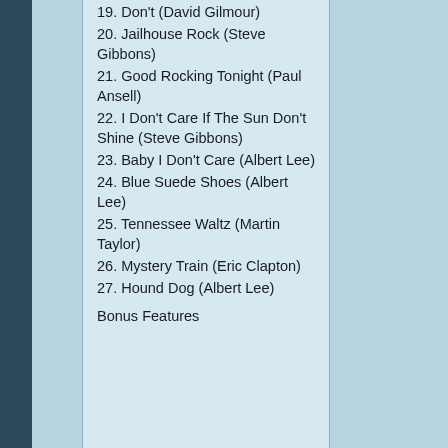19. Don't (David Gilmour)
20. Jailhouse Rock (Steve Gibbons)
21. Good Rocking Tonight (Paul Ansell)
22. I Don't Care If The Sun Don't Shine (Steve Gibbons)
23. Baby I Don't Care (Albert Lee)
24. Blue Suede Shoes (Albert Lee)
25. Tennessee Waltz (Martin Taylor)
26. Mystery Train (Eric Clapton)
27. Hound Dog (Albert Lee)
Bonus Features